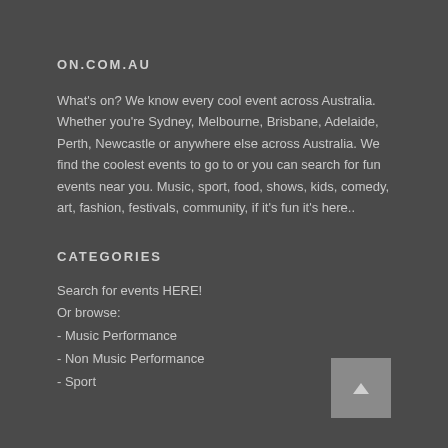ON.COM.AU
What's on? We know every cool event across Australia. Whether you're Sydney, Melbourne, Brisbane, Adelaide, Perth, Newcastle or anywhere else across Australia. We find the coolest events to go to or you can search for fun events near you. Music, sport, food, shows, kids, comedy, art, fashion, festivals, community, if it's fun it's here..
CATEGORIES
Search for events HERE!
Or browse:
- Music Performance
- Non Music Performance
- Sport